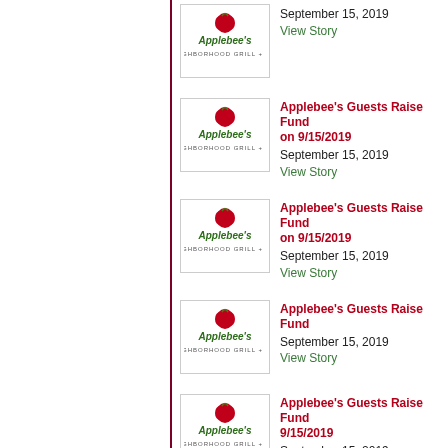Applebee's Guests Raise Fund on 9/15/2019 | September 15, 2019 | View Story
Applebee's Guests Raise Fund on 9/15/2019 | September 15, 2019 | View Story
Applebee's Guests Raise Fund on 9/15/2019 | September 15, 2019 | View Story
Applebee's Guests Raise Fund on 9/15/2019 | September 15, 2019 | View Story